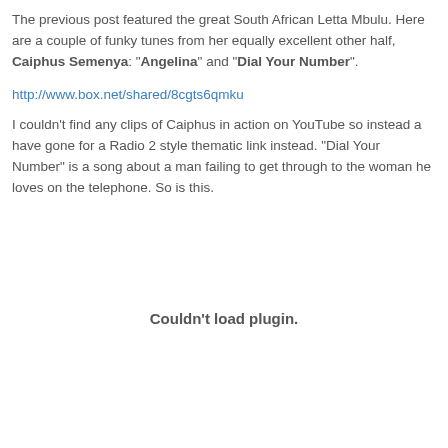The previous post featured the great South African Letta Mbulu. Here are a couple of funky tunes from her equally excellent other half, Caiphus Semenya: "Angelina" and "Dial Your Number".
http://www.box.net/shared/8cgts6qmku
I couldn't find any clips of Caiphus in action on YouTube so instead a have gone for a Radio 2 style thematic link instead. "Dial Your Number" is a song about a man failing to get through to the woman he loves on the telephone. So is this.
Couldn't load plugin.